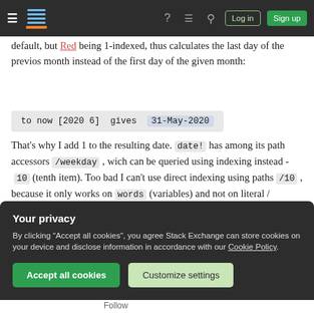Stack Exchange navigation bar with hamburger, logo, help, chat, search icons, Log in and Sign up buttons
default, but Red being 1-indexed, thus calculates the last day of the previos month instead of the first day of the given month:
That's why I add 1 to the resulting date. date! has among its path accessors /weekday , wich can be queried using indexing instead - 10 (tenth item). Too bad I can't use direct indexing using paths /10 , because it only works on words (variables) and not on literal / unnamed data. That's why I use
Your privacy
By clicking "Accept all cookies", you agree Stack Exchange can store cookies on your device and disclose information in accordance with our Cookie Policy.
Follow